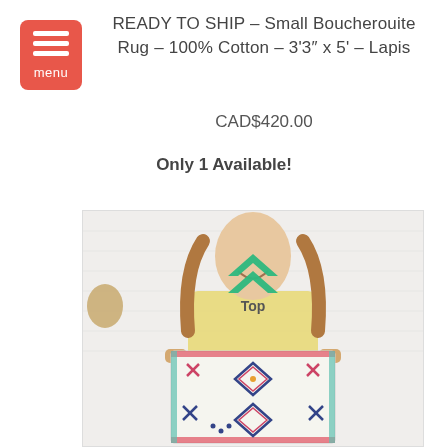READY TO SHIP – Small Boucherouite Rug – 100% Cotton – 3'3" x 5' – Lapis
CAD$420.00
Only 1 Available!
[Figure (photo): A woman with long brown hair smiling and holding up a small colorful Boucherouite rug in front of a white brick wall. The rug features geometric diamond and X patterns in navy blue, pink/red, and teal on a white background. A green chevron arrow overlay with the text 'Top' indicates the top of the rug.]